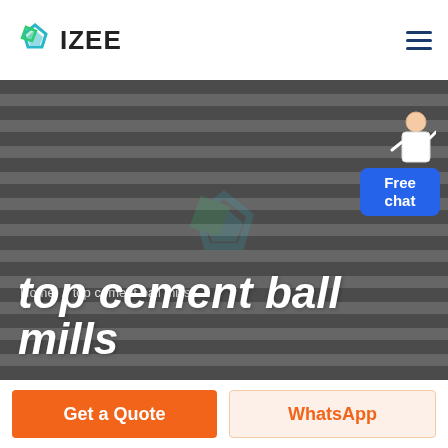IZEE
[Figure (screenshot): Hero banner image with dark grayscale striped background (person wearing striped clothing), overlay with breadcrumb 'Home / top cement ball mills' and large white italic bold title 'top cement ball mills'. A 'Free chat' widget with a customer service figure is in the top-right of the hero area.]
Home / top cement ball mills
top cement ball mills
Get a Quote
WhatsApp